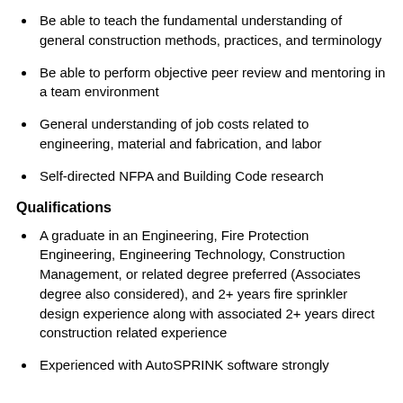Be able to teach the fundamental understanding of general construction methods, practices, and terminology
Be able to perform objective peer review and mentoring in a team environment
General understanding of job costs related to engineering, material and fabrication, and labor
Self-directed NFPA and Building Code research
Qualifications
A graduate in an Engineering, Fire Protection Engineering, Engineering Technology, Construction Management, or related degree preferred (Associates degree also considered), and 2+ years fire sprinkler design experience along with associated 2+ years direct construction related experience
Experienced with AutoSPRINK software strongly